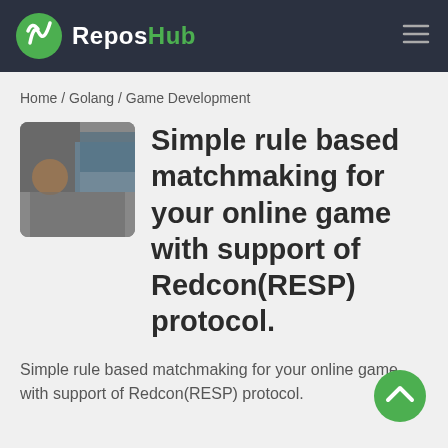ReposHub
Home / Golang / Game Development
Simple rule based matchmaking for your online game with support of Redcon(RESP) protocol.
Simple rule based matchmaking for your online game with support of Redcon(RESP) protocol.